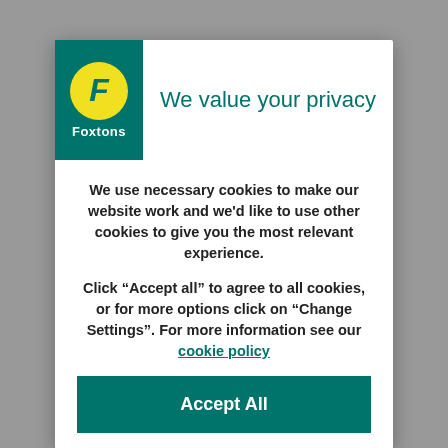[Figure (logo): Foxtons logo: green background with yellow circle containing italic F, white Foxtons text below]
We value your privacy
We use necessary cookies to make our website work and we'd like to use other cookies to give you the most relevant experience.

Click “Accept all” to agree to all cookies, or for more options click on “Change Settings”. For more information see our cookie policy
Accept All